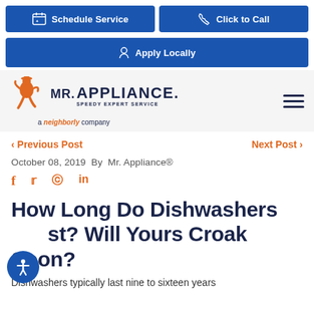Schedule Service | Click to Call | Apply Locally
[Figure (logo): Mr. Appliance logo with orange mascot figure, 'SPEEDY EXPERT SERVICE' tagline, and 'a neighborly company' text below]
< Previous Post    Next Post >
October 08, 2019 By Mr. Appliance®
Social icons: Facebook, Twitter, Pinterest, LinkedIn
How Long Do Dishwashers Last? Will Yours Croak Soon?
Dishwashers typically last nine to sixteen years